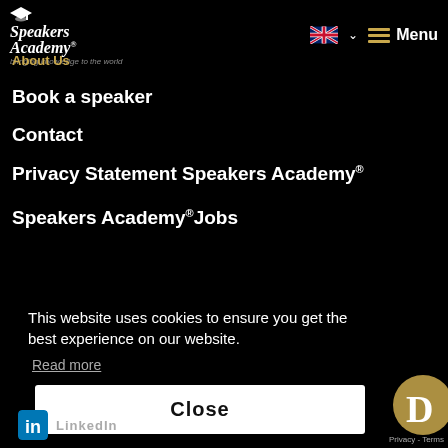Speakers Academy — bringing knowledge to the world
About Us
Book a speaker
Contact
Privacy Statement Speakers Academy®
Speakers Academy®Jobs
This website uses cookies to ensure you get the best experience on our website. Read more
Close
LinkedIn
Privacy - Terms